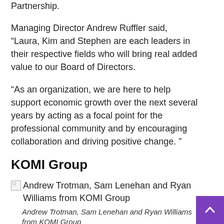Partnership.
Managing Director Andrew Ruffler said, “Laura, Kim and Stephen are each leaders in their respective fields who will bring real added value to our Board of Directors.
“As an organization, we are here to help support economic growth over the next several years by acting as a focal point for the professional community and by encouraging collaboration and driving positive change. ”
KOMI Group
[Figure (photo): Andrew Trotman, Sam Lenehan and Ryan Williams from KOMI Group (image not loaded, shown as broken image icon with alt text)]
Andrew Trotman, Sam Lenehan and Ryan Williams from KOMI Group
Manchester-based social media, marketing and licensing firm KOMI Group has announced that Sam Lenehan has been appointed Chief Growth and Strategy Officer.